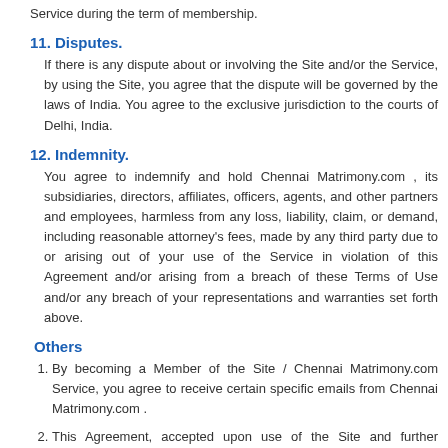Service during the term of membership.
11. Disputes.
If there is any dispute about or involving the Site and/or the Service, by using the Site, you agree that the dispute will be governed by the laws of India. You agree to the exclusive jurisdiction to the courts of Delhi, India.
12. Indemnity.
You agree to indemnify and hold Chennai Matrimony.com , its subsidiaries, directors, affiliates, officers, agents, and other partners and employees, harmless from any loss, liability, claim, or demand, including reasonable attorney's fees, made by any third party due to or arising out of your use of the Service in violation of this Agreement and/or arising from a breach of these Terms of Use and/or any breach of your representations and warranties set forth above.
Others
By becoming a Member of the Site / Chennai Matrimony.com Service, you agree to receive certain specific emails from Chennai Matrimony.com .
This Agreement, accepted upon use of the Site and further affirmed by becoming a Member of the Chennai Matrimony.com Service, contains the entire agreement between you and Chennai Matrimony.com